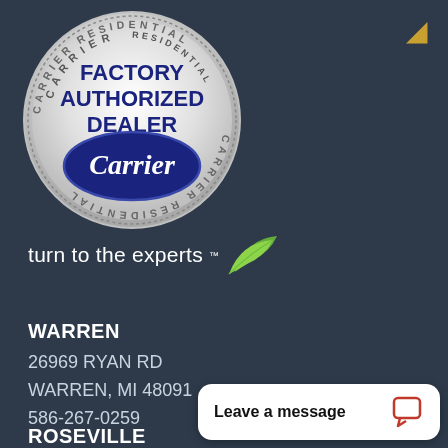[Figure (logo): Carrier Residential Factory Authorized Dealer badge — silver circular seal with dotted border, text 'CARRIER RESIDENTIAL' around edge, 'FACTORY AUTHORIZED DEALER' in dark blue bold text in center, dark navy blue oval with 'Carrier' in white italic script at bottom of seal, and green leaf logo with 'turn to the experts' tagline below]
turn to the experts
WARREN
26969 RYAN RD
WARREN, MI 48091
586-267-0259
Leave a message
ROSEVILLE